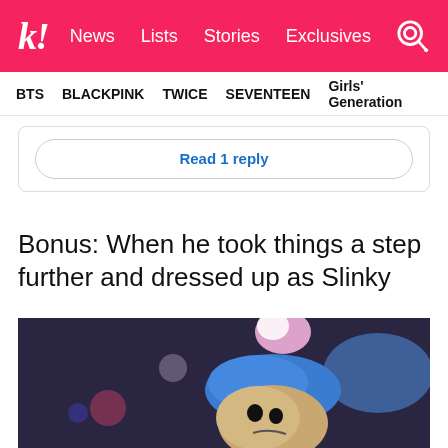k! News Lists Stories Exclusives
BTS BLACKPINK TWICE SEVENTEEN Girls' Generation
Read 1 reply
Bonus: When he took things a step further and dressed up as Slinky
[Figure (photo): A person dressed up as Slinky dog character wearing a blue hat with decorative flower, with bokeh lights in background]